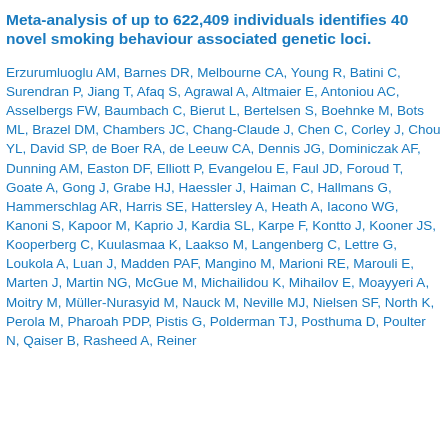Meta-analysis of up to 622,409 individuals identifies 40 novel smoking behaviour associated genetic loci.
Erzurumluoglu AM, Barnes DR, Melbourne CA, Young R, Batini C, Surendran P, Jiang T, Afaq S, Agrawal A, Altmaier E, Antoniou AC, Asselbergs FW, Baumbach C, Bierut L, Bertelsen S, Boehnke M, Bots ML, Brazel DM, Chambers JC, Chang-Claude J, Chen C, Corley J, Chou YL, David SP, de Boer RA, de Leeuw CA, Dennis JG, Dominiczak AF, Dunning AM, Easton DF, Elliott P, Evangelou E, Faul JD, Foroud T, Goate A, Gong J, Grabe HJ, Haessler J, Haiman C, Hallmans G, Hammerschlag AR, Harris SE, Hattersley A, Heath A, Iacono WG, Kanoni S, Kapoor M, Kaprio J, Kardia SL, Karpe F, Kontto J, Kooner JS, Kooperberg C, Kuulasmaa K, Laakso M, Langenberg C, Lettre G, Loukola A, Luan J, Madden PAF, Mangino M, Marioni RE, Marouli E, Marten J, Martin NG, McGue M, Michailidou K, Mihailov E, Moayyeri A, Moitry M, Müller-Nurasyid M, Nauck M, Neville MJ, Nielsen SF, North K, Perola M, Pharoah PDP, Pistis G, Polderman TJ, Posthuma D, Poulter N, Qaiser B, Rasheed A, Reiner